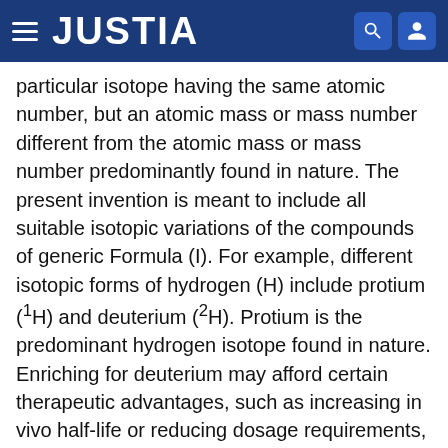JUSTIA
particular isotope having the same atomic number, but an atomic mass or mass number different from the atomic mass or mass number predominantly found in nature. The present invention is meant to include all suitable isotopic variations of the compounds of generic Formula (I). For example, different isotopic forms of hydrogen (H) include protium (¹H) and deuterium (²H). Protium is the predominant hydrogen isotope found in nature. Enriching for deuterium may afford certain therapeutic advantages, such as increasing in vivo half-life or reducing dosage requirements, or may provide a compound useful as a standard for characterization of biological samples. Isotopically-enriched compounds within generic Formula (I) can be prepared without undue experimentation by conventional techniques well known to those skilled in the art or by processes analogous to those described in the Schemes and